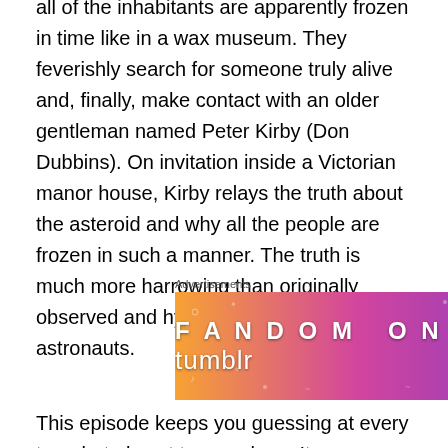all of the inhabitants are apparently frozen in time like in a wax museum. They feverishly search for someone truly alive and, finally, make contact with an older gentleman named Peter Kirby (Don Dubbins). On invitation inside a Victorian manor house, Kirby relays the truth about the asteroid and why all the people are frozen in such a manner. The truth is much more harrowing than originally observed and hypothesized by the astronauts.
[Figure (other): Advertisement banner for 'Fandom on Tumblr' with colorful gradient background (orange to purple) with decorative doodles]
This episode keeps you guessing at every turn, but almost too much so. It seems as if it gets too convoluted for a mere 25 minute television program with too many questions and a rushed answer at the end. Because of this, I rated the episode a bit lower. The acting in this